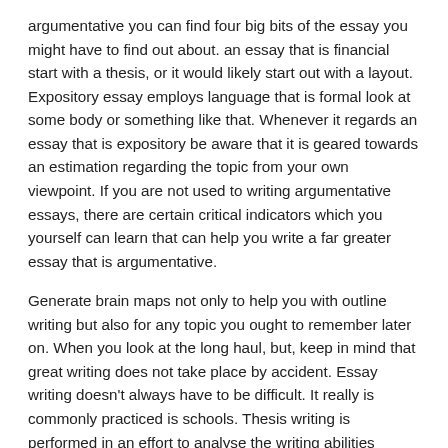argumentative you can find four big bits of the essay you might have to find out about. an essay that is financial start with a thesis, or it would likely start out with a layout. Expository essay employs language that is formal look at some body or something like that. Whenever it regards an essay that is expository be aware that it is geared towards an estimation regarding the topic from your own viewpoint. If you are not used to writing argumentative essays, there are certain critical indicators which you yourself can learn that can help you write a far greater essay that is argumentative.
Generate brain maps not only to help you with outline writing but also for any topic you ought to remember later on. When you look at the long haul, but, keep in mind that great writing does not take place by accident. Essay writing doesn't always have to be difficult. It really is commonly practiced is schools. Thesis writing is performed in an effort to analyse the writing abilities associated with pupils within the universities and research institutes to supply them understanding concerning the topic making certain they are able to successfully conduct the research down the road. It is the many essential requirement of each and every pupil's educational profession. The writing of the disclaimer may be a difficult task for an individual that has never written one before, consequently i shall give you a succinct guide that you simply might make use of and follow.